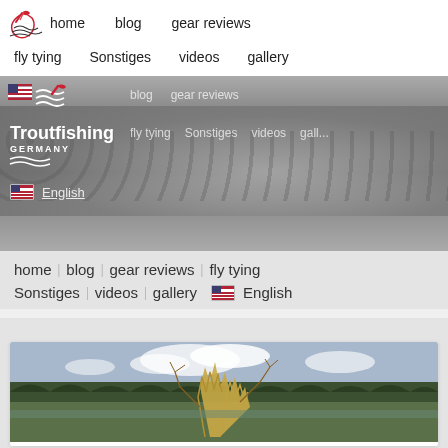home  blog  gear reviews  fly tying  Sonstiges  videos  gallery
[Figure (photo): Website header showing Troutfishing Germany logo overlaid on a grayscale photo of a person holding a large trout/salmon fish, with navigation links overlaid: home, blog, gear reviews, fly tying, Sonstiges, videos, gallery, English]
home | blog | gear reviews | fly tying | Sonstiges | videos | gallery | English
[Figure (photo): Landscape photo showing a riverside or meadow scene with dried golden grass and shrubs in the foreground, dark green forest trees in the background, and a partly cloudy sky]